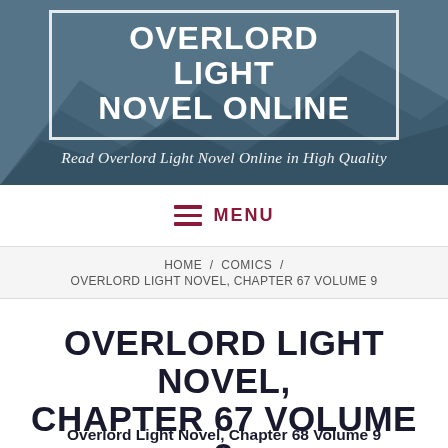[Figure (screenshot): Website header banner with mountain/snow background showing 'OVERLORD LIGHT NOVEL ONLINE' in white bold text inside a white border box, with italic tagline below]
Read Overlord Light Novel Online in High Quality
MENU
HOME / COMICS / OVERLORD LIGHT NOVEL, CHAPTER 67 VOLUME 9
OVERLORD LIGHT NOVEL, CHAPTER 67 VOLUME 9
Overlord Light Novel, Chapter 68 Volume 9